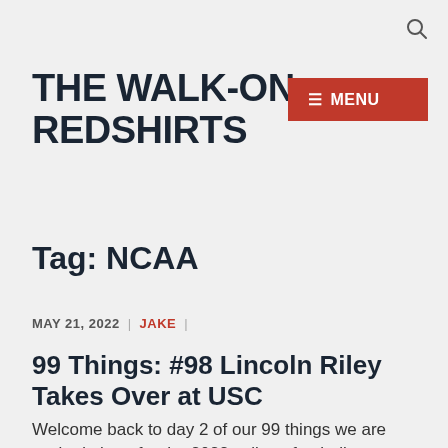🔍
THE WALK-ON REDSHIRTS
[Figure (other): Red MENU button with hamburger icon]
Tag: NCAA
MAY 21, 2022 | JAKE |
99 Things: #98 Lincoln Riley Takes Over at USC
Welcome back to day 2 of our 99 things we are excited about for the 2022 college football season...